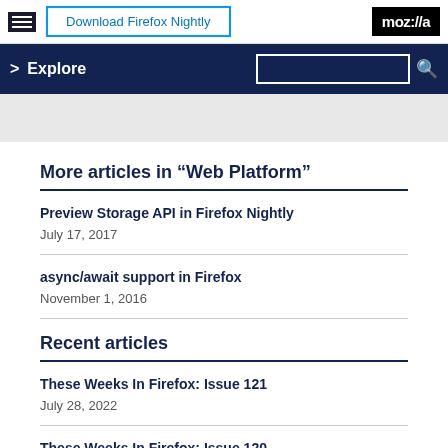Download Firefox Nightly | moz://a
Explore
More articles in “Web Platform”
Preview Storage API in Firefox Nightly
July 17, 2017
async/await support in Firefox
November 1, 2016
Recent articles
These Weeks In Firefox: Issue 121
July 28, 2022
These Weeks In Firefox: Issue 120